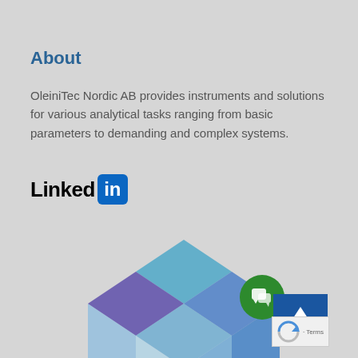About
OleiniTec Nordic AB provides instruments and solutions for various analytical tasks ranging from basic parameters to demanding and complex systems.
[Figure (logo): LinkedIn logo with text 'Linked' and blue box with 'in']
[Figure (illustration): 3D hexagonal crystal/cube logo in shades of blue and purple]
[Figure (other): Green chat button, blue arrow button, and reCAPTCHA logo with 'Terms' text in bottom right corner]